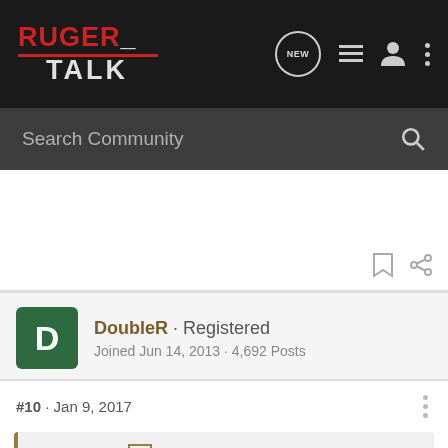[Figure (screenshot): Ruger Talk forum website navigation bar with logo, 'NEW' chat icon, list icon, user icon, and three-dot menu icon]
[Figure (screenshot): Search Community search bar with magnifying glass icon]
DoubleR · Registered
Joined Jun 14, 2013 · 4,692 Posts
#10 · Jan 9, 2017
phideaux said: ↑
That pic has been floating around the internet for years..its a photoshop fake.